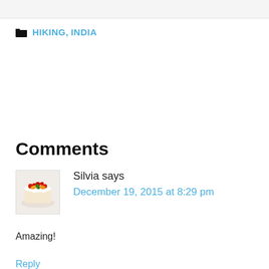HIKING, INDIA
Comments
[Figure (photo): Avatar image of a decorated cake/dessert with berries and fruit toppings on a plate]
Silvia says
December 19, 2015 at 8:29 pm
Amazing!
Reply